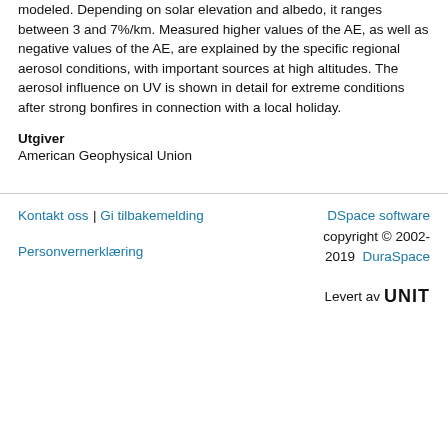modeled. Depending on solar elevation and albedo, it ranges between 3 and 7%/km. Measured higher values of the AE, as well as negative values of the AE, are explained by the specific regional aerosol conditions, with important sources at high altitudes. The aerosol influence on UV is shown in detail for extreme conditions after strong bonfires in connection with a local holiday.
Utgiver
American Geophysical Union
Kontakt oss | Gi tilbakemelding   Personvernerklæring   DSpace software copyright © 2002-2019  DuraSpace   Levert av UNIT